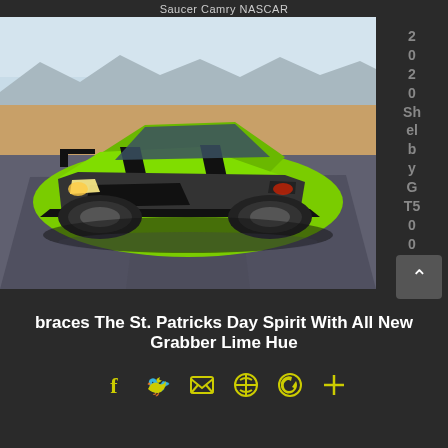Saucer Camry NASCAR
[Figure (photo): 2020 Ford Shelby GT500 Mustang in Grabber Lime green color driving on a desert track, front three-quarter view.]
2020 Shelby GT500 Em
braces The St. Patricks Day Spirit With All New Grabber Lime Hue
[Figure (other): Social media sharing icons: Facebook, Twitter, Email, Pinterest, WhatsApp, Plus]